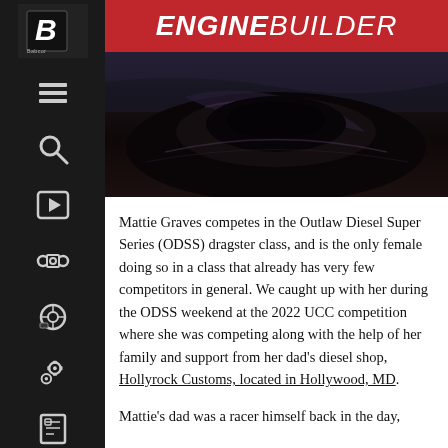ENGINE BUILDER
[Figure (photo): Close-up photo of a dark, glossy car body panel (likely a dragster or racing vehicle), showing reflective black/dark surface with dramatic lighting]
Mattie Graves competes in the Outlaw Diesel Super Series (ODSS) dragster class, and is the only female doing so in a class that already has very few competitors in general. We caught up with her during the ODSS weekend at the 2022 UCC competition where she was competing along with the help of her family and support from her dad’s diesel shop, Hollyrock Customs, located in Hollywood, MD.
Mattie’s dad was a racer himself back in the day,